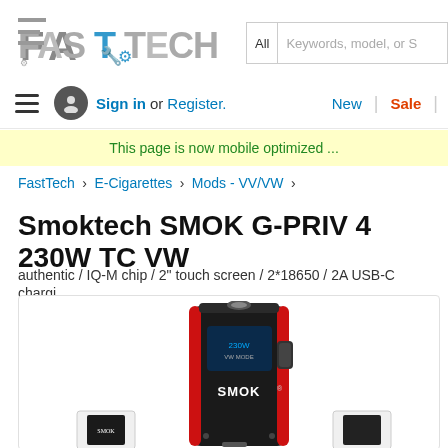[Figure (logo): FastTech website logo — stylized text with tools and gears]
[Figure (screenshot): Search bar with 'All' dropdown and 'Keywords, model, or S...' placeholder]
≡  Sign in or Register.   New | Sale |
This page is now mobile optimized ...
FastTech › E-Cigarettes › Mods - VV/VW ›
Smoktech SMOK G-PRIV 4 230W TC VW...
authentic / IQ-M chip / 2" touch screen / 2*18650 / 2A USB-C chargi...
[Figure (photo): SMOK G-PRIV 4 device in black and red colorway, front view showing SMOK logo]